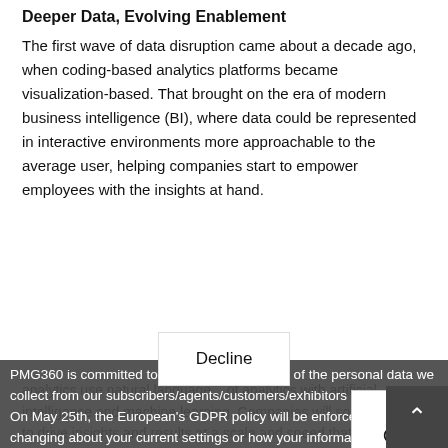Deeper Data, Evolving Enablement
The first wave of data disruption came about a decade ago, when coding-based analytics platforms became visualization-based. That brought on the era of modern business intelligence (BI), where data could be represented in interactive environments more approachable to the average user, helping companies start to empower employees with the insights at hand.
PMG360 is committed to protecting the privacy of the personal data we collect from our subscribers/agents/customers/exhibitors and sponsors. On May 25th, the European's GDPR policy will be enforced. Nothing is changing about your current settings or how your information is processed, however, we have made a few changes. We have updated our Privacy Policy and Cookie Policy to make it easier for you to understand what information we collect, how and why we collect it.
Ok
Decline